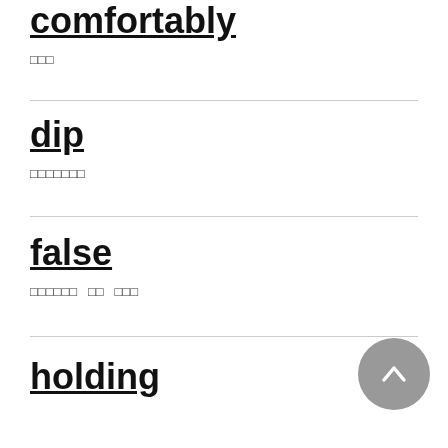comfortably
□□□
dip
□□□□□□□
false
□□□□□□   □□   □□□
holding
[Figure (other): Circular grey back-to-top button with upward chevron arrow]